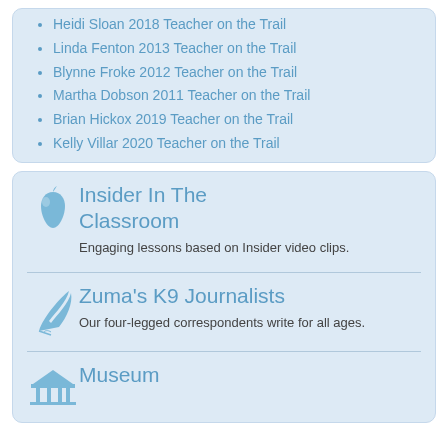Heidi Sloan 2018 Teacher on the Trail
Linda Fenton 2013 Teacher on the Trail
Blynne Froke 2012 Teacher on the Trail
Martha Dobson 2011 Teacher on the Trail
Brian Hickox 2019 Teacher on the Trail
Kelly Villar 2020 Teacher on the Trail
Insider In The Classroom
Engaging lessons based on Insider video clips.
Zuma's K9 Journalists
Our four-legged correspondents write for all ages.
Museum